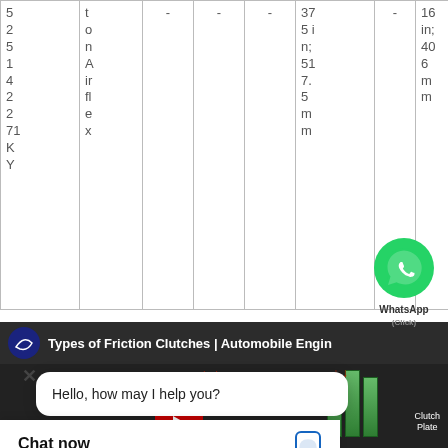| 5
2
5
1
4
2
2
71
K
Y | t
o
n
A
ir
fl
e
x | - | - | - | 37
5 i
n;
51
7.
5
m
m | - | 16
in;
40
6
m
m | - | - |
[Figure (screenshot): WhatsApp icon (green circle with phone) and label]
[Figure (screenshot): YouTube video thumbnail showing 'Types of Friction Clutches | Automobile Engine' with flywheel and clutch plate diagram]
Hello, how may I help you?
Chat now